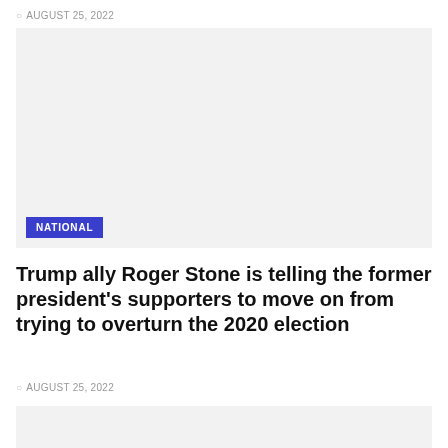AUGUST 25, 2022
[Figure (photo): Placeholder image area with a NATIONAL category badge in the lower left corner]
Trump ally Roger Stone is telling the former president's supporters to move on from trying to overturn the 2020 election
AUGUST 25, 2022
[Figure (photo): Placeholder image area at the bottom of the page]